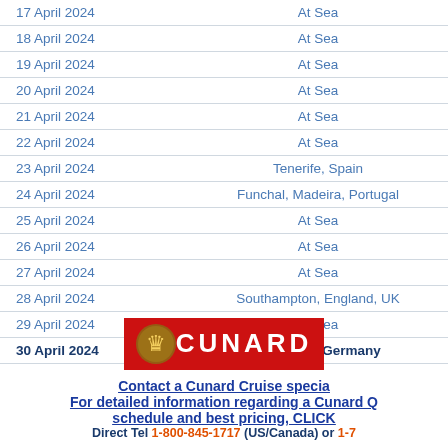| Date | Port |
| --- | --- |
| 17 April 2024 | At Sea |
| 18 April 2024 | At Sea |
| 19 April 2024 | At Sea |
| 20 April 2024 | At Sea |
| 21 April 2024 | At Sea |
| 22 April 2024 | At Sea |
| 23 April 2024 | Tenerife, Spain |
| 24 April 2024 | Funchal, Madeira, Portugal |
| 25 April 2024 | At Sea |
| 26 April 2024 | At Sea |
| 27 April 2024 | At Sea |
| 28 April 2024 | Southampton, England, UK |
| 29 April 2024 | At Sea |
| 30 April 2024 | Hamburg, Germany |
[Figure (logo): Cunard cruise line logo — red rectangle with gold lion crest and white CUNARD text]
Contact a Cunard Cruise specia...
For detailed information regarding a Cunard Q... schedule and best pricing, CLICK...
Direct Tel 1-800-845-1717 (US/Canada) or 1-7...